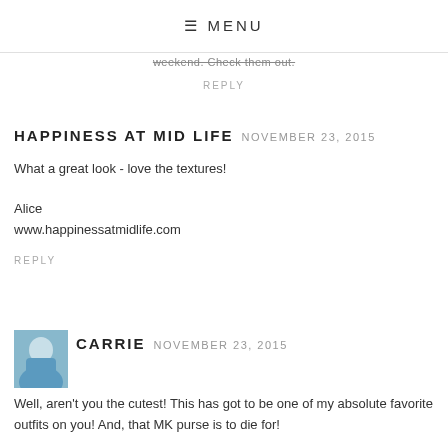≡ MENU
weekend. Check them out.
REPLY
HAPPINESS AT MID LIFE  NOVEMBER 23, 2015
What a great look - love the textures!
Alice
www.happinessatmidlife.com
REPLY
CARRIE  NOVEMBER 23, 2015
Well, aren't you the cutest! This has got to be one of my absolute favorite outfits on you! And, that MK purse is to die for!